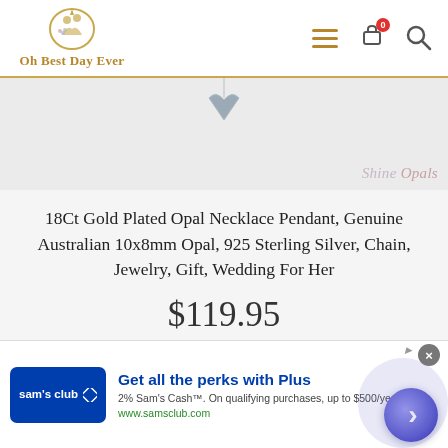Oh Best Day Ever
[Figure (photo): Partial product image of an opal necklace pendant with a heart/V-shaped pendant visible at top, and a 'Shine Opals' watermark in bottom right corner]
18Ct Gold Plated Opal Necklace Pendant, Genuine Australian 10x8mm Opal, 925 Sterling Silver, Chain, Jewelry, Gift, Wedding For Her
$119.95
Sold By : Oh Best Day Ever
[Figure (screenshot): Sam's Club advertisement banner: 'Get all the perks with Plus. 2% Sam's Cash™. On qualifying purchases, up to $500/year. www.samsclub.com']